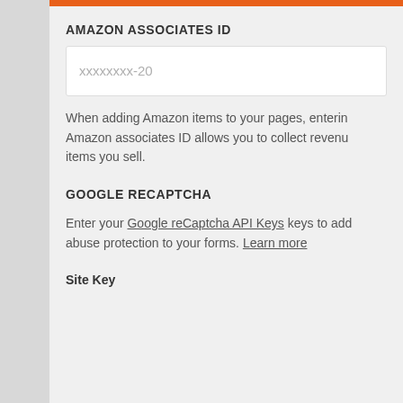AMAZON ASSOCIATES ID
xxxxxxxx-20
When adding Amazon items to your pages, entering your Amazon associates ID allows you to collect revenue on items you sell.
GOOGLE RECAPTCHA
Enter your Google reCaptcha API Keys keys to add abuse protection to your forms. Learn more
Site Key